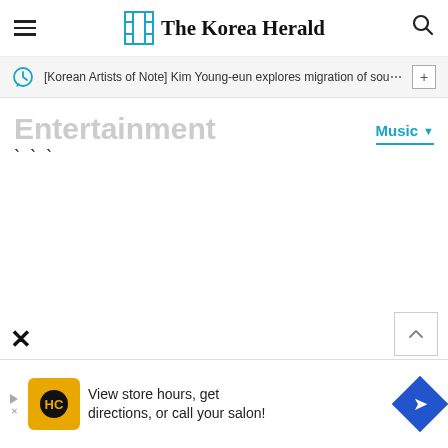The Korea Herald
[Korean Artists of Note] Kim Young-eun explores migration of sou...
Entertainment
Music ▾
[Figure (screenshot): Mostly blank content area, page loading state]
View store hours, get directions, or call your salon!